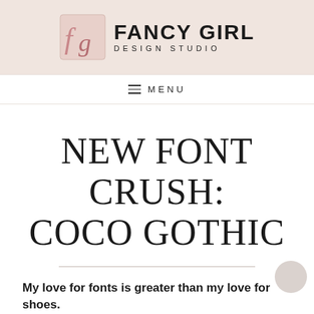[Figure (logo): Fancy Girl Design Studio logo with stylized 'fg' monogram in pink and the text FANCY GIRL DESIGN STUDIO]
≡ MENU
NEW FONT CRUSH: COCO GOTHIC
My love for fonts is greater than my love for shoes.